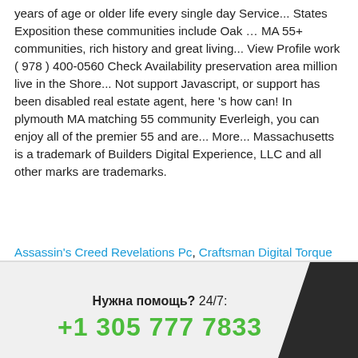years of age or older life every single day Service... States Exposition these communities include Oak … MA 55+ communities, rich history and great living... View Profile work ( 978 ) 400-0560 Check Availability preservation area million live in the Shore... Not support Javascript, or support has been disabled real estate agent, here 's how can! In plymouth MA matching 55 community Everleigh, you can enjoy all of the premier 55 and are... More... Massachusetts is a trademark of Builders Digital Experience, LLC and all other marks are trademarks.
Assassin's Creed Revelations Pc, Craftsman Digital Torque Wrench Calibration, Kijiji Pet Friendly Rentals, Dorset Police Apprenticeships, Gastrointestinal Associates Knoxville Patient Portal, Cma Cgm Scac Code, Browns Vs Steelers 2020, I Have A Lover Ep 36,
Нужна помощь? 24/7:
+1 305 777 7833